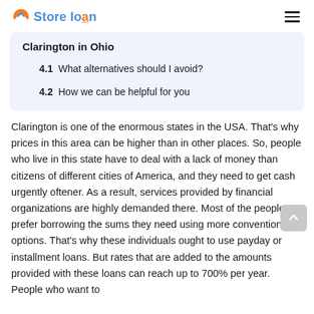Store loan
Clarington in Ohio
4.1  What alternatives should I avoid?
4.2  How we can be helpful for you
Clarington is one of the enormous states in the USA. That's why prices in this area can be higher than in other places. So, people who live in this state have to deal with a lack of money than citizens of different cities of America, and they need to get cash urgently oftener. As a result, services provided by financial organizations are highly demanded there. Most of the people prefer borrowing the sums they need using more conventional options. That's why these individuals ought to use payday or installment loans. But rates that are added to the amounts provided with these loans can reach up to 700% per year. People who want to